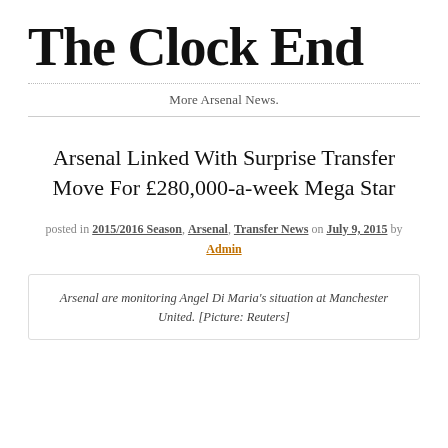The Clock End
More Arsenal News.
Arsenal Linked With Surprise Transfer Move For £280,000-a-week Mega Star
posted in 2015/2016 Season, Arsenal, Transfer News on July 9, 2015 by Admin
Arsenal are monitoring Angel Di Maria's situation at Manchester United. [Picture: Reuters]